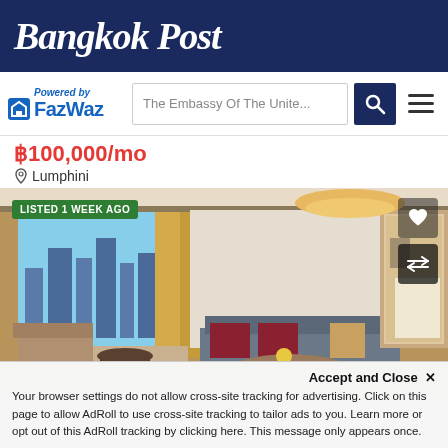Bangkok Post
[Figure (logo): FazWaz logo with 'Powered by' text above and home icon to the left of FazWaz brand text]
The Embassy Of The Unite...
฿100,000/mo
Lumphini
[Figure (photo): Interior photo of a luxury hotel-style condominium suite with large windows overlooking Bangkok skyline, sofa, armchairs, coffee table with flowers, warm lighting, and a bedroom visible through an open doorway. Badge: LISTED 1 WEEK AGO]
Accept and Close ✕
Your browser settings do not allow cross-site tracking for advertising. Click on this page to allow AdRoll to use cross-site tracking to tailor ads to you. Learn more or opt out of this AdRoll tracking by clicking here. This message only appears once.